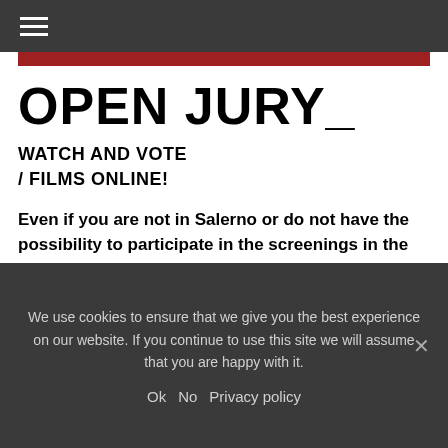☰
OPEN JURY_
WATCH AND VOTE / FILMS ONLINE!
Even if you are not in Salerno or do not have the possibility to participate in the screenings in the theatre,
We use cookies to ensure that we give you the best experience on our website. If you continue to use this site we will assume that you are happy with it.
Ok   No   Privacy policy